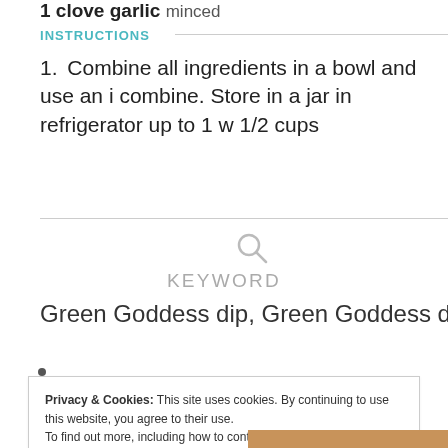1 clove garlic minced
INSTRUCTIONS
1. Combine all ingredients in a bowl and use an i combine. Store in a jar in refrigerator up to 1 w 1/2 cups
KEYWORD
Green Goddess dip, Green Goddess dressing, hom
Privacy & Cookies: This site uses cookies. By continuing to use this website, you agree to their use. To find out more, including how to control cookies, see here: Cookie Policy